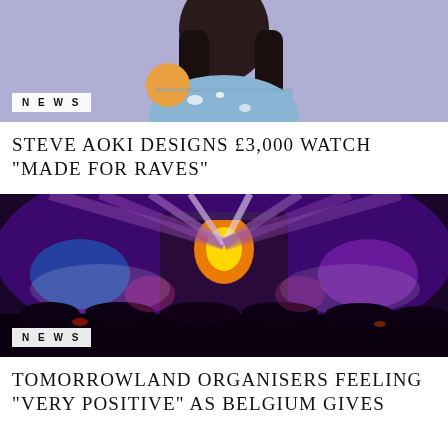[Figure (photo): Partial photo of a person with long dark hair wearing a light blue/denim jacket with white paint-splattered design, on a purple background]
NEWS
STEVE AOKI DESIGNS £3,000 WATCH "MADE FOR RAVES"
[Figure (photo): Concert/festival photo showing a massive crowd and elaborate illuminated stage with purple, blue and orange lights, fog/smoke effects at Tomorrowland festival]
NEWS
TOMORROWLAND ORGANISERS FEELING "VERY POSITIVE" AS BELGIUM GIVES